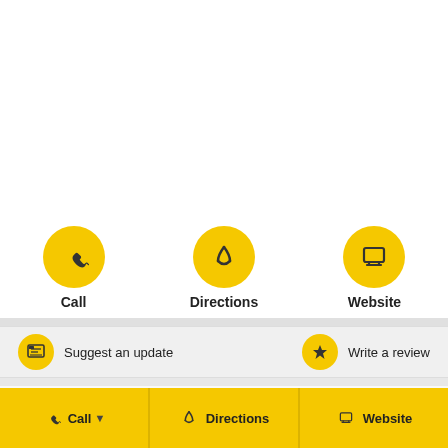[Figure (screenshot): Yellow Pages mobile UI screenshot showing Call, Directions, Website circular action buttons, a Suggest an update bar, Write a review option, YellowPages logo, and bottom navigation bar with Call, Directions, Website buttons]
Call
Directions
Website
Suggest an update
Write a review
YellowPages™
Call  Directions  Website